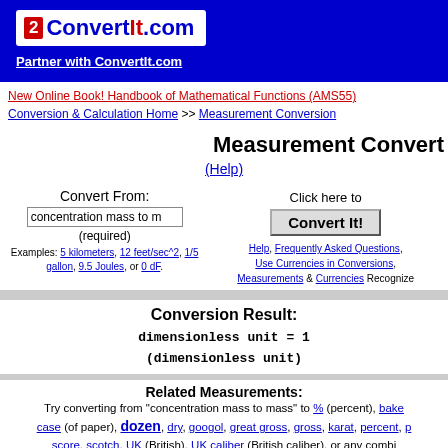[Figure (logo): ConvertIt.com logo with red icon and blue/red text on white background]
Partner with ConvertIt.com
New Online Book! Handbook of Mathematical Functions (AMS55)
Conversion & Calculation Home >> Measurement Conversion
Measurement Convert
(Help)
Convert From:
concentration mass to m
(required)
Examples: 5 kilometers, 12 feet/sec^2, 1/5 gallon, 9.5 Joules, or 0 dF.
Click here to
Convert It!
Help, Frequently Asked Questions, Use Currencies in Conversions, Measurements & Currencies Recognize
Conversion Result:
dimensionless unit = 1
(dimensionless unit)
Related Measurements:
Try converting from "concentration mass to mass" to % (percent), bake case (of paper), dozen, dry, googol, great gross, gross, karat, percent, p score, scotch, UK (British), UK caliber (British caliber), or any combi